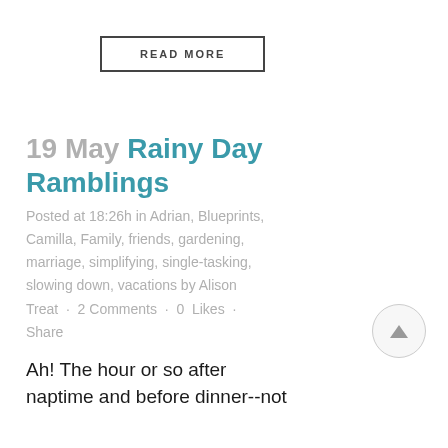READ MORE
19 May Rainy Day Ramblings
Posted at 18:26h in Adrian, Blueprints, Camilla, Family, friends, gardening, marriage, simplifying, single-tasking, slowing down, vacations by Alison Treat · 2 Comments · 0 Likes · Share
Ah! The hour or so after naptime and before dinner--not